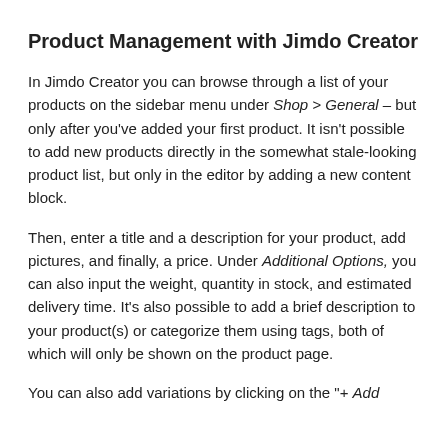Product Management with Jimdo Creator
In Jimdo Creator you can browse through a list of your products on the sidebar menu under Shop > General – but only after you've added your first product. It isn't possible to add new products directly in the somewhat stale-looking product list, but only in the editor by adding a new content block.
Then, enter a title and a description for your product, add pictures, and finally, a price. Under Additional Options, you can also input the weight, quantity in stock, and estimated delivery time. It's also possible to add a brief description to your product(s) or categorize them using tags, both of which will only be shown on the product page.
You can also add variations by clicking on the "+ Add